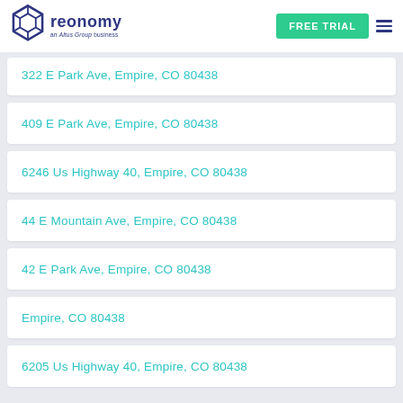reonomy an Altus Group business | FREE TRIAL
322 E Park Ave, Empire, CO 80438
409 E Park Ave, Empire, CO 80438
6246 Us Highway 40, Empire, CO 80438
44 E Mountain Ave, Empire, CO 80438
42 E Park Ave, Empire, CO 80438
Empire, CO 80438
6205 Us Highway 40, Empire, CO 80438